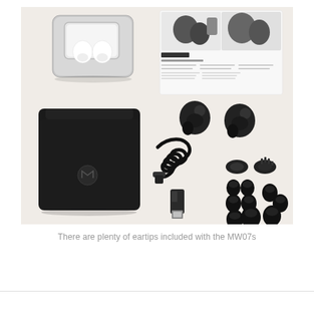[Figure (photo): Product flat-lay photo showing contents of Master & Dynamic MW07 true wireless earphones package: a silver metal charging case with white earbuds inside (top left), a black velvet pouch with logo (center left), a product information card/booklet (top center-right), two black earphone units with ear tips attached (top right area), a coiled black USB charging cable with USB-C connector and a small USB-A to USB-C adapter dongle (center), and multiple sets of silicone ear tips in various sizes arranged on the right side. All items are laid out on a white surface.]
There are plenty of eartips included with the MW07s